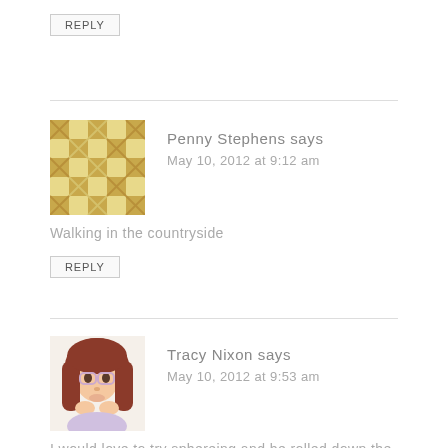REPLY
Penny Stephens says
May 10, 2012 at 9:12 am
Walking in the countryside
REPLY
Tracy Nixon says
May 10, 2012 at 9:53 am
I would love to try sphereing and be rolled down the hill inside a huge plastic transparent ball!